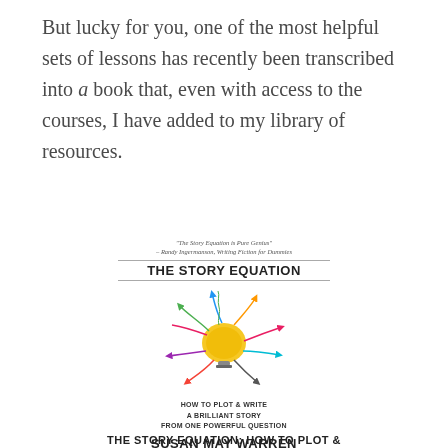But lucky for you, one of the most helpful sets of lessons has recently been transcribed into a book that, even with access to the courses, I have added to my library of resources.
[Figure (illustration): Book cover of 'The Story Equation: How to Plot & Write a Brilliant Story From One Powerful Question' by Susan May Warren. Features colorful doodle arrows surrounding a crumpled paper lightbulb. Quote at top: 'The Story Equation is Pure Genius' - Randy Ingermanson, Writing Fiction for Dummies.]
THE STORY EQUATION: HOW TO PLOT &